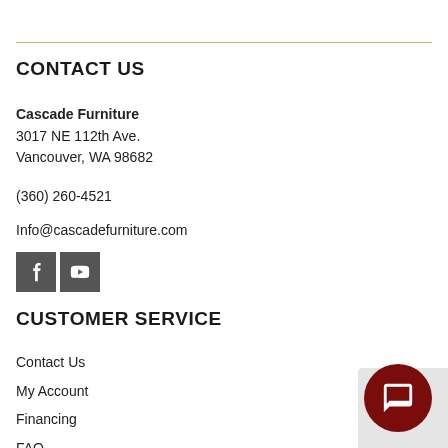CONTACT US
Cascade Furniture
3017 NE 112th Ave.
Vancouver, WA 98682
(360) 260-4521
Info@cascadefurniture.com
[Figure (other): Social media icons: Facebook and YouTube, dark grey square buttons with white icons]
CUSTOMER SERVICE
Contact Us
My Account
Financing
FAQ
Accessibility
Site Map
[Figure (other): Dark red circular chat button with message/chat icon, overlapping a grey panel in the bottom right corner]